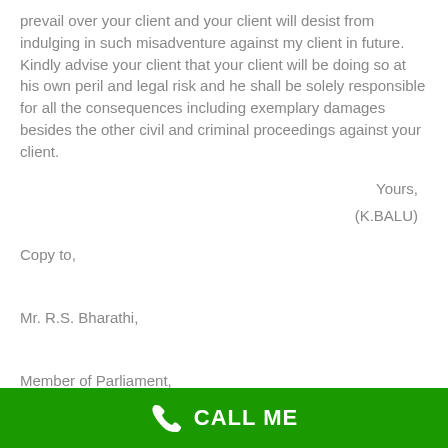prevail over your client and your client will desist from indulging in such misadventure against my client in future. Kindly advise your client that your client will be doing so at his own peril and legal risk and he shall be solely responsible for all the consequences including exemplary damages besides the other civil and criminal proceedings against your client.
Yours,

(K.BALU)
Copy to,

Mr. R.S. Bharathi,

Member of Parliament,

Trustee of Murasoli trust,
CALL ME